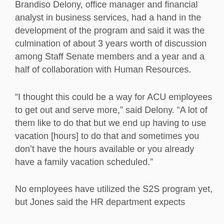Brandiso Delony, office manager and financial analyst in business services, had a hand in the development of the program and said it was the culmination of about 3 years worth of discussion among Staff Senate members and a year and a half of collaboration with Human Resources.
“I thought this could be a way for ACU employees to get out and serve more,” said Delony. “A lot of them like to do that but we end up having to use vacation [hours] to do that and sometimes you don't have the hours available or you already have a family vacation scheduled.”
No employees have utilized the S2S program yet, but Jones said the HR department expects